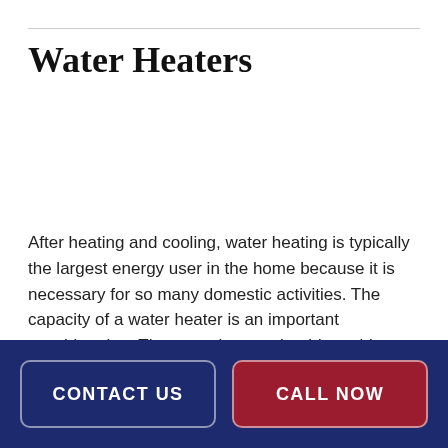Water Heaters
After heating and cooling, water heating is typically the largest energy user in the home because it is necessary for so many domestic activities. The capacity of a water heater is an important consideration. The water heater should provide enough hot water at the busiest time of the day. We offer a wide variety of electric, gas and tankless water heaters.
CONTACT US   CALL NOW